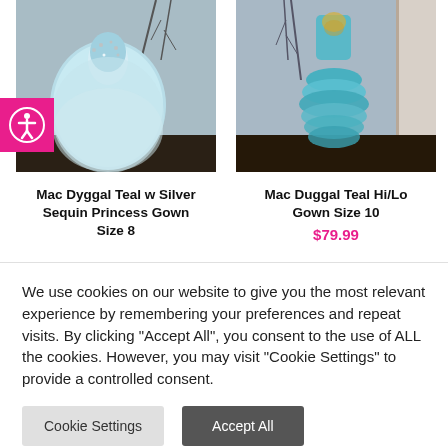[Figure (photo): Photo of a teal/mint ball gown with silver sequins displayed on a hanger or mannequin against a grey wall with decorative branches]
[Figure (photo): Photo of a teal/mint hi-lo ruffle gown displayed against a grey wall with decorative branches and a white door]
Mac Dyggal Teal w Silver Sequin Princess Gown Size 8
Mac Duggal Teal Hi/Lo Gown Size 10
$79.99
We use cookies on our website to give you the most relevant experience by remembering your preferences and repeat visits. By clicking "Accept All", you consent to the use of ALL the cookies. However, you may visit "Cookie Settings" to provide a controlled consent.